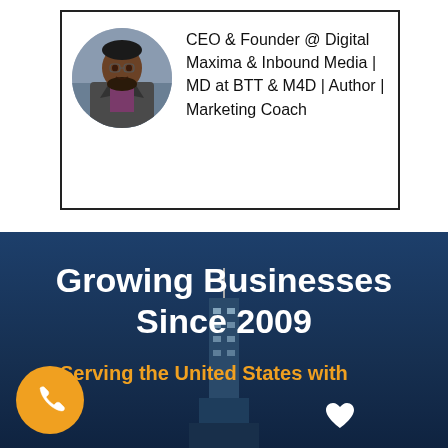[Figure (photo): Profile photo of a man in a suit inside a circular frame, shown inside a bordered card]
CEO & Founder @ Digital Maxima & Inbound Media | MD at BTT & M4D | Author | Marketing Coach
[Figure (infographic): Dark blue marketing banner with city skyline background. Large white bold text reads 'Growing Businesses Since 2009'. Below in orange bold text: 'Serving the United States with'. An orange phone icon circle is at bottom left. A white heart icon is at bottom center-right.]